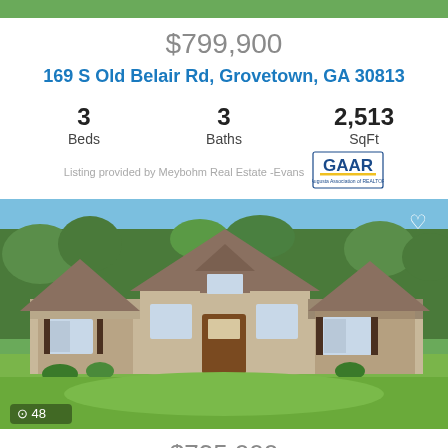$799,900
169 S Old Belair Rd, Grovetown, GA 30813
3 Beds   3 Baths   2,513 SqFt
Listing provided by Meybohm Real Estate -Evans
[Figure (photo): Exterior photo of a stone and siding ranch-style home with gabled rooflines, brown wooden front door, lawn in foreground, trees in background. Camera icon with count 48 in lower left. Heart icon in upper right.]
$735,000